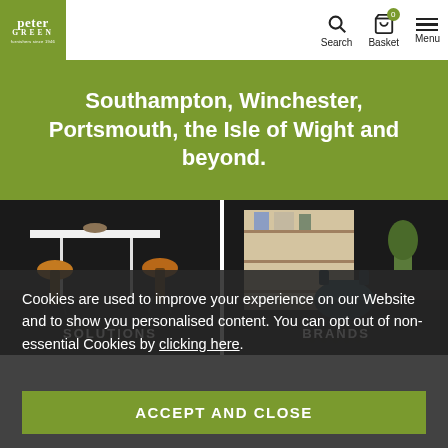[Figure (logo): Peter Green logo - white text on olive green background, reading 'peter' in serif font above 'GREEN' with tagline below]
[Figure (infographic): Website header icons: Search (magnifying glass), Basket (bag icon with 0 badge), Menu (hamburger icon)]
Southampton, Winchester, Portsmouth, the Isle of Wight and beyond.
[Figure (photo): Left photo: interior furniture scene with orange/mustard bar stools at a white table, dark wood flooring. Overlay text: SOLUTIONS]
[Figure (photo): Right photo: interior scene with shelving unit, books, plant and dark teal chair. Overlay text: BRANDS]
Cookies are used to improve your experience on our Website and to show you personalised content. You can opt out of non-essential Cookies by clicking here.
ACCEPT AND CLOSE